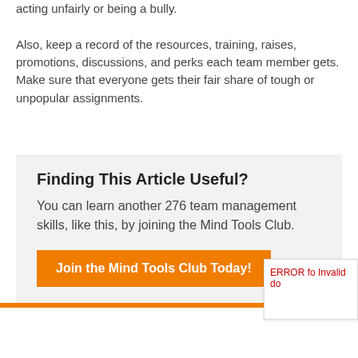acting unfairly or being a bully.
Also, keep a record of the resources, training, raises, promotions, discussions, and perks each team member gets. Make sure that everyone gets their fair share of tough or unpopular assignments.
Finding This Article Useful?
You can learn another 276 team management skills, like this, by joining the Mind Tools Club.
Join the Mind Tools Club Today!
ERROR fo Invalid do